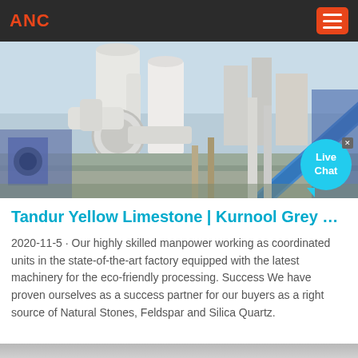ANC
[Figure (photo): Industrial factory scene with large white silos, pipes, conveyor belt (blue), and heavy machinery under a clear sky.]
Tandur Yellow Limestone | Kurnool Grey …
2020-11-5 · Our highly skilled manpower working as coordinated units in the state-of-the-art factory equipped with the latest machinery for the eco-friendly processing. Success We have proven ourselves as a success partner for our buyers as a right source of Natural Stones, Feldspar and Silica Quartz.